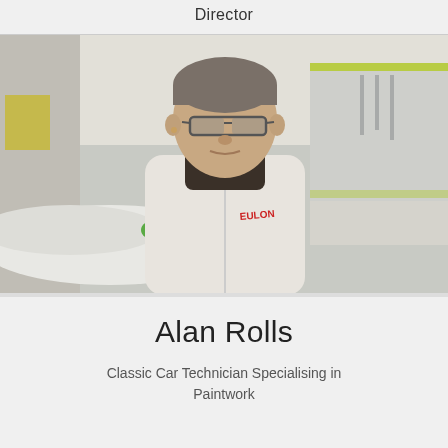Director
[Figure (photo): A man wearing glasses and a white zip-up jacket with 'EULON' text on the chest, standing in what appears to be an automotive paint workshop with a classic car visible in the background. Green masking tape and plastic sheeting visible in the background.]
Alan Rolls
Classic Car Technician Specialising in Paintwork